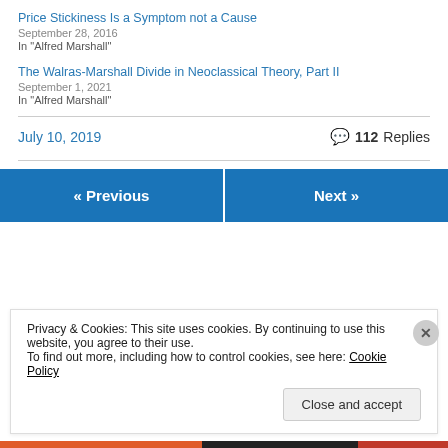Price Stickiness Is a Symptom not a Cause
September 28, 2016
In "Alfred Marshall"
The Walras-Marshall Divide in Neoclassical Theory, Part II
September 1, 2021
In "Alfred Marshall"
July 10, 2019
112 Replies
« Previous
Next »
Privacy & Cookies: This site uses cookies. By continuing to use this website, you agree to their use.
To find out more, including how to control cookies, see here: Cookie Policy
Close and accept